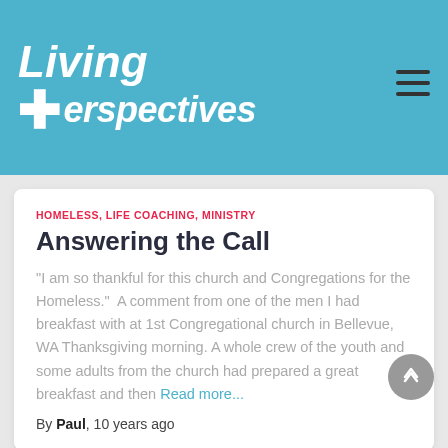Living Perspectives
HOMELESS, LIFE COACHING, MINISTRY
Answering the Call
“I am so thankful for this church and Congregations for the Homeless.”  A comment from one of the men I had breakfast with at 1st Congregational church in Bellevue, WA Thanksgiving morning. A whole crew of the youth and some adults from the church had prepared a great breakfast and then Read more...
By Paul, 10 years ago